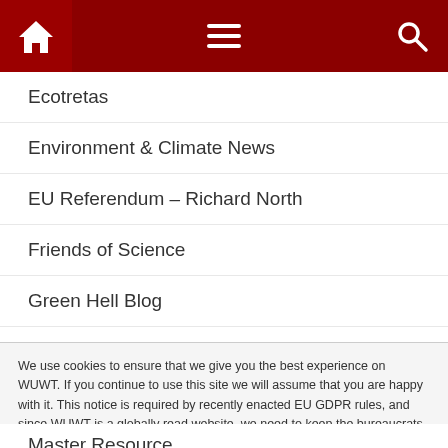Navigation header with home, menu, and search icons
Ecotretas
Environment & Climate News
EU Referendum – Richard North
Friends of Science
Green Hell Blog
Haunting the library
ICECAP
International Climate Science Coalition
We use cookies to ensure that we give you the best experience on WUWT. If you continue to use this site we will assume that you are happy with it. This notice is required by recently enacted EU GDPR rules, and since WUWT is a globally read website, we need to keep the bureaucrats off our case! Cookie Policy
Master Resource